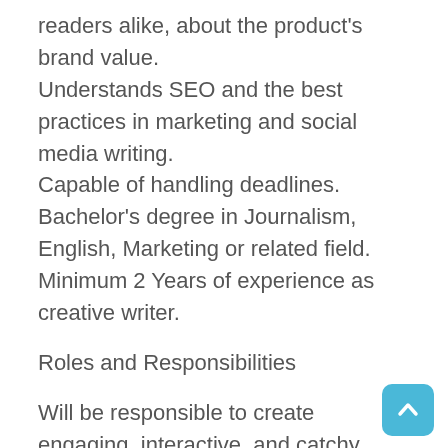readers alike, about the product's brand value.
Understands SEO and the best practices in marketing and social media writing.
Capable of handling deadlines.
Bachelor's degree in Journalism, English, Marketing or related field.
Minimum 2 Years of experience as creative writer.
Roles and Responsibilities
Will be responsible to create engaging, interactive, and catchy contents that help gain attention of targeted audience and improve brand value.
Bring about a creative storyline to present company strengths, capabilities, and